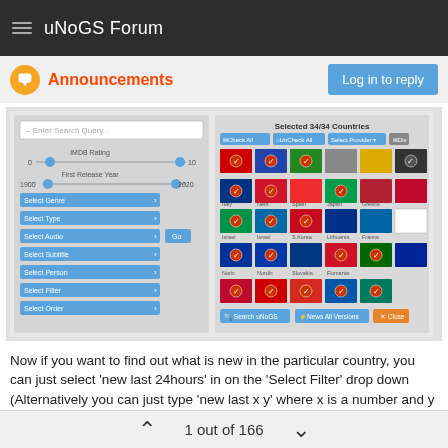uNoGS Forum
Announcements
[Figure (screenshot): Screenshot of uNoGS search interface showing country selection panel with 34/34 countries selected, showing flags of various countries, and filter options including IMDB Rating slider (0-10), First Release Year (1900-2020), Select Genre, Select Type, Select Audio, Select Subtitle, Select Person, Select Filter, Select Order dropdowns, with Search uNoGS, News All Versions, and Close buttons at the bottom.]
Now if you want to find out what is new in the particular country, you can just select 'new last 24hours' in on the 'Select Filter' drop down (Alternatively you can just type 'new last x y' where x is a number and y is a timeframe like hour,day,month). Then just select any country and the results will be specific to that country (or any group of selected countries).
click for example
1 out of 166